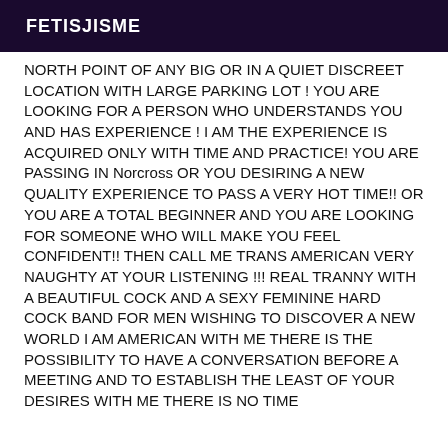FETISJISME
NORTH POINT OF ANY BIG OR IN A QUIET DISCREET LOCATION WITH LARGE PARKING LOT ! YOU ARE LOOKING FOR A PERSON WHO UNDERSTANDS YOU AND HAS EXPERIENCE ! I AM THE EXPERIENCE IS ACQUIRED ONLY WITH TIME AND PRACTICE! YOU ARE PASSING IN Norcross OR YOU DESIRING A NEW QUALITY EXPERIENCE TO PASS A VERY HOT TIME!! OR YOU ARE A TOTAL BEGINNER AND YOU ARE LOOKING FOR SOMEONE WHO WILL MAKE YOU FEEL CONFIDENT!! THEN CALL ME TRANS AMERICAN VERY NAUGHTY AT YOUR LISTENING !!! REAL TRANNY WITH A BEAUTIFUL COCK AND A SEXY FEMININE HARD COCK BAND FOR MEN WISHING TO DISCOVER A NEW WORLD I AM AMERICAN WITH ME THERE IS THE POSSIBILITY TO HAVE A CONVERSATION BEFORE A MEETING AND TO ESTABLISH THE LEAST OF YOUR DESIRES WITH ME THERE IS NO TIME